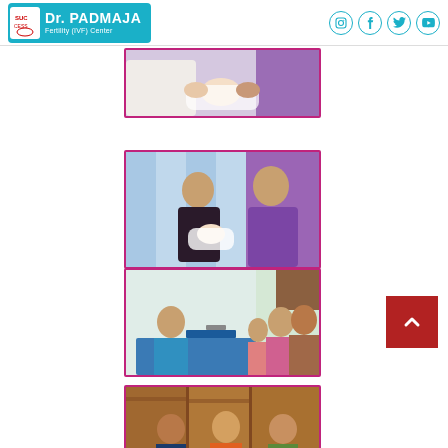Dr. PADMAJA Fertility (IVF) Center
[Figure (photo): Photo 1: People holding a newborn baby, cropped at top]
[Figure (photo): Photo 2: A smiling couple (woman in dark top, man in purple shirt) holding a newborn baby in front of blue curtains]
[Figure (photo): Photo 3: A family with a young child visiting a doctor's office, doctor seated at blue desk]
[Figure (photo): Photo 4: A group of adults posing in a room with wooden cabinets — partially visible at bottom]